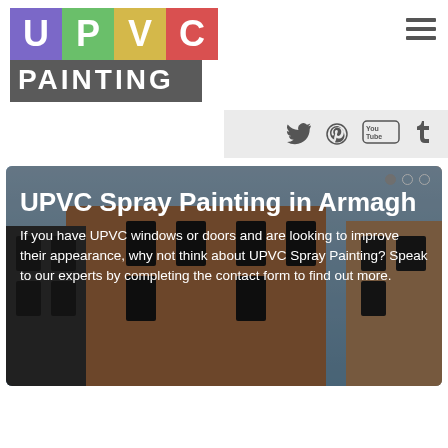[Figure (logo): UPVC Painting logo with colored letter blocks U (purple), P (green), V (gold), C (red) on top row, and PAINTING text on grey background below]
[Figure (other): Hamburger menu icon (three horizontal lines)]
[Figure (other): Social media icons bar: Twitter, Pinterest, YouTube, Tumblr]
[Figure (photo): Background photo of brick buildings with blue sky, overlaid with hero text about UPVC Spray Painting in Armagh]
UPVC Spray Painting in Armagh
If you have UPVC windows or doors and are looking to improve their appearance, why not think about UPVC Spray Painting? Speak to our experts by completing the contact form to find out more.